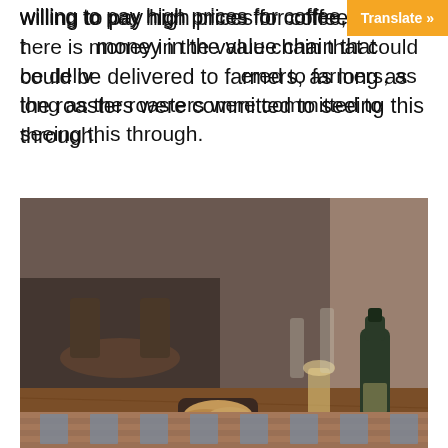willing to pay high prices for coffee, surely there is money in the value chain that could be delivered to farmers, as long as the roasters were committed to seeing this through.
[Figure (photo): Restaurant dining table with a cup of coffee on a saucer, a tall glass of amber-colored drink, a bottle of sparkling wine, a bowl of bread, a green salad plate, a plate with vegetables, and a menu booklet reading something like 'manfredi'. Background shows a dimly lit restaurant interior.]
[Figure (photo): Exterior of a brick building with multiple windows, shown at the bottom of the page (partially cropped).]